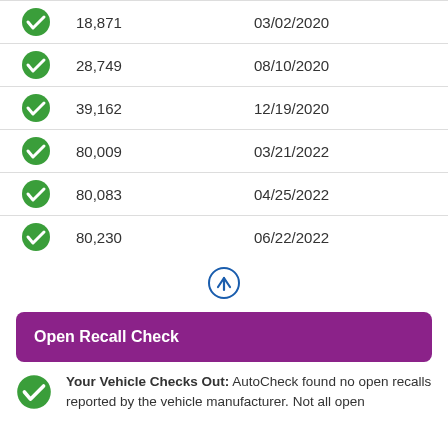| Status | Mileage | Date |
| --- | --- | --- |
| ✓ | 18,871 | 03/02/2020 |
| ✓ | 28,749 | 08/10/2020 |
| ✓ | 39,162 | 12/19/2020 |
| ✓ | 80,009 | 03/21/2022 |
| ✓ | 80,083 | 04/25/2022 |
| ✓ | 80,230 | 06/22/2022 |
Open Recall Check
Your Vehicle Checks Out: AutoCheck found no open recalls reported by the vehicle manufacturer. Not all open